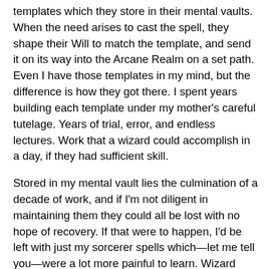templates which they store in their mental vaults. When the need arises to cast the spell, they shape their Will to match the template, and send it on its way into the Arcane Realm on a set path. Even I have those templates in my mind, but the difference is how they got there. I spent years building each template under my mother's careful tutelage. Years of trial, error, and endless lectures. Work that a wizard could accomplish in a day, if they had sufficient skill.
Stored in my mental vault lies the culmination of a decade of work, and if I'm not diligent in maintaining them they could all be lost with no hope of recovery. If that were to happen, I'd be left with just my sorcerer spells which—let me tell you—were a lot more painful to learn. Wizard spells may take a spellformless hedge wizard like me ages to learn, but the risk of dying in the process is low. My mother taught me sorcery through literal torture.
A sorcerer doesn't learn new spells through study and patience. They manifest spells when faced with a life-or-death situation. To "teach" me, my mother created situations where I believed my life to be in danger.